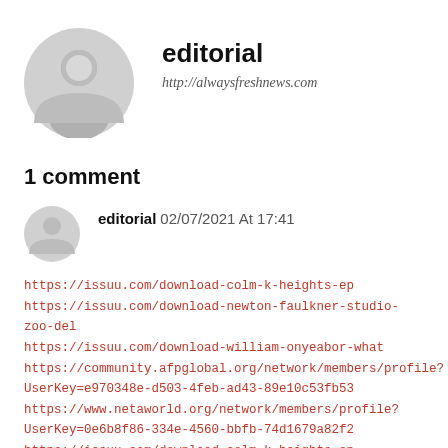[Figure (illustration): Large circular grey avatar/profile placeholder icon]
editorial
http://alwaysfreshnews.com
1 comment
[Figure (illustration): Small circular grey avatar/profile placeholder icon]
editorial 02/07/2021 At 17:41
https://issuu.com/download-colm-k-heights-ep
https://issuu.com/download-newton-faulkner-studio-zoo-del
https://issuu.com/download-william-onyeabor-what
https://community.afpglobal.org/network/members/profile?
UserKey=e970348e-d503-4feb-ad43-89e10c53fb53
https://www.netaworld.org/network/members/profile?
UserKey=0e6b8f86-334e-4560-bbfb-74d1679a82f2